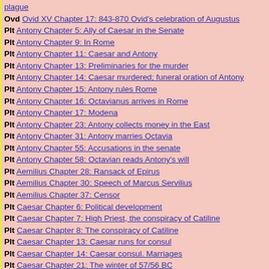plague
Ovd Ovid XV Chapter 17: 843-870 Ovid's celebration of Augustus
Plt Antony Chapter 5: Ally of Caesar in the Senate
Plt Antony Chapter 9: In Rome
Plt Antony Chapter 11: Caesar and Antony
Plt Antony Chapter 13: Preliminaries for the murder
Plt Antony Chapter 14: Caesar murdered; funeral oration of Antony
Plt Antony Chapter 15: Antony rules Rome
Plt Antony Chapter 16: Octavianus arrives in Rome
Plt Antony Chapter 17: Modena
Plt Antony Chapter 23: Antony collects money in the East
Plt Antony Chapter 31: Antony marries Octavia
Plt Antony Chapter 55: Accusations in the senate
Plt Antony Chapter 58: Octavian reads Antony's will
Plt Aemilius Chapter 28: Ransack of Epirus
Plt Aemilius Chapter 30: Speech of Marcus Servilius
Plt Aemilius Chapter 37: Censor
Plt Caesar Chapter 6: Political development
Plt Caesar Chapter 7: High Priest, the conspiracy of Catiline
Plt Caesar Chapter 8: The conspiracy of Catiline
Plt Caesar Chapter 13: Caesar runs for consul
Plt Caesar Chapter 14: Caesar consul. Marriages
Plt Caesar Chapter 21: The winter of 57/56 BC
Plt Caesar Chapter 22: Caesar's war with the Germans
Plt Caesar Chapter 28: Politics in Rome